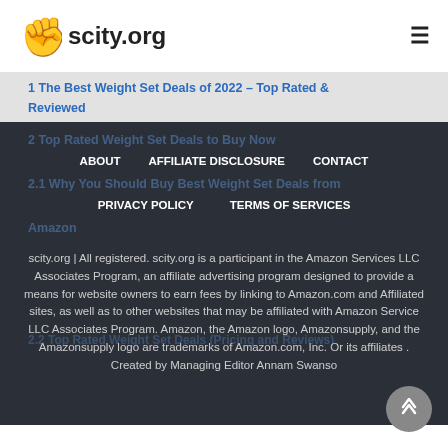scity.org
1 The Best Weight Set Deals of 2022 – Top Rated & Reviewed
2 Top Rated Weight Set Deals to Buy Now
2.1 Why You Should Buy Best Weight Set Deals from Amazon
ABOUT   AFFILIATE DISCLOSURE   CONTACT   PRIVACY POLICY   TERMS OF SERVICES
2.2 Top Rated Weight Set Deals (Pricing and Reviews)
scity.org | All registered. scity.org is a participant in the Amazon Services LLC Associates Program, an affiliate advertising program designed to provide a means for website owners to earn fees by linking to Amazon.com and Affiliated sites, as well as to other websites that may be affiliated with Amazon Service LLC Associates Program. Amazon, the Amazon logo, Amazonsupply, and the Amazonsupply logo are trademarks of Amazon.com, Inc. Or its affiliates . Created by Managing Editor Annam Swanso